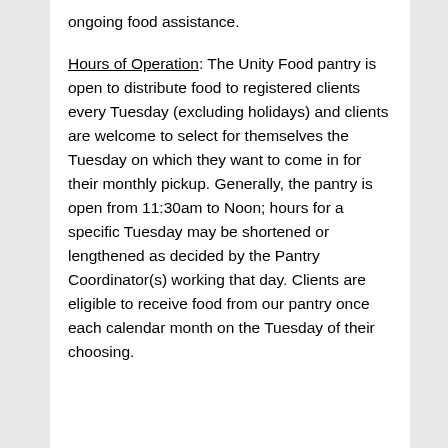ongoing food assistance.
Hours of Operation: The Unity Food pantry is open to distribute food to registered clients every Tuesday (excluding holidays) and clients are welcome to select for themselves the Tuesday on which they want to come in for their monthly pickup. Generally, the pantry is open from 11:30am to Noon; hours for a specific Tuesday may be shortened or lengthened as decided by the Pantry Coordinator(s) working that day. Clients are eligible to receive food from our pantry once each calendar month on the Tuesday of their choosing.